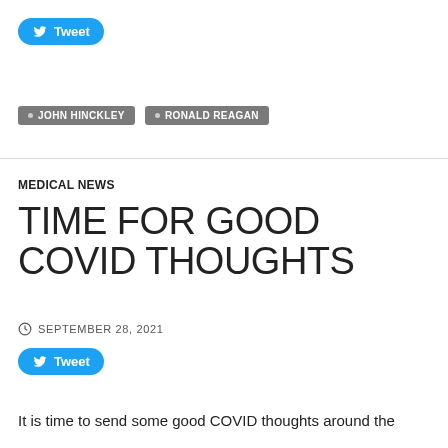[Figure (other): Twitter Tweet button (blue rounded rectangle with bird icon and 'Tweet' text)]
• JOHN HINCKLEY   • RONALD REAGAN
MEDICAL NEWS
TIME FOR GOOD COVID THOUGHTS
SEPTEMBER 28, 2021
[Figure (other): Twitter Tweet button (blue rounded rectangle with bird icon and 'Tweet' text)]
It is time to send some good COVID thoughts around the